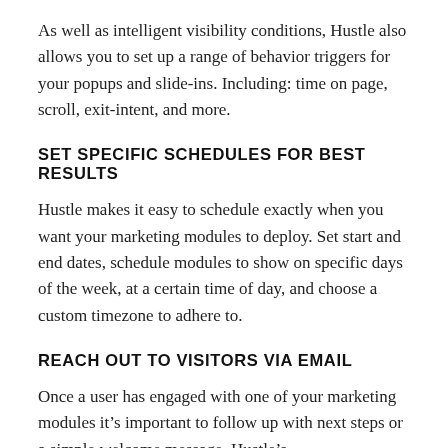As well as intelligent visibility conditions, Hustle also allows you to set up a range of behavior triggers for your popups and slide-ins. Including: time on page, scroll, exit-intent, and more.
SET SPECIFIC SCHEDULES FOR BEST RESULTS
Hustle makes it easy to schedule exactly when you want your marketing modules to deploy. Set start and end dates, schedule modules to show on specific days of the week, at a certain time of day, and choose a custom timezone to adhere to.
REACH OUT TO VISITORS VIA EMAIL
Once a user has engaged with one of your marketing modules it’s important to follow up with next steps or a simple welcome message. Hustle’s